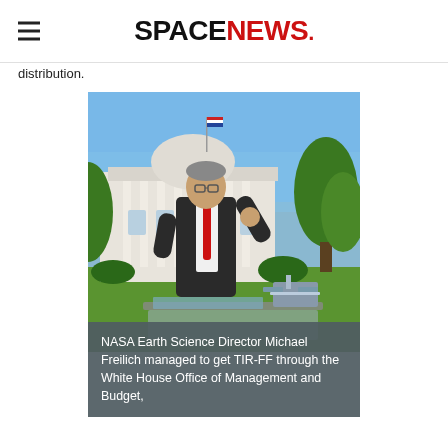SPACENEWS
distribution.
[Figure (photo): NASA Earth Science Director Michael Freilich speaking outdoors in front of the White House, wearing a dark suit with a red tie, gesturing with one hand raised. A spacecraft model is visible on a table in the foreground.]
NASA Earth Science Director Michael Freilich managed to get TIR-FF through the White House Office of Management and Budget,